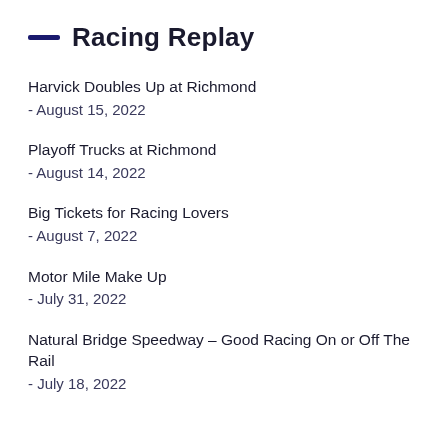Racing Replay
Harvick Doubles Up at Richmond
- August 15, 2022
Playoff Trucks at Richmond
- August 14, 2022
Big Tickets for Racing Lovers
- August 7, 2022
Motor Mile Make Up
- July 31, 2022
Natural Bridge Speedway – Good Racing On or Off The Rail
- July 18, 2022